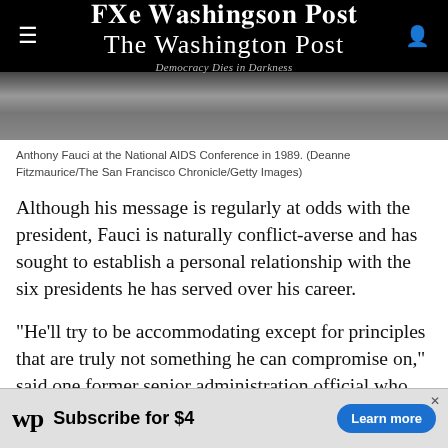The Washington Post — Democracy Dies in Darkness
[Figure (photo): Black and white photo of Anthony Fauci at the National AIDS Conference in 1989]
Anthony Fauci at the National AIDS Conference in 1989. (Deanne Fitzmaurice/The San Francisco Chronicle/Getty Images)
Although his message is regularly at odds with the president, Fauci is naturally conflict-averse and has sought to establish a personal relationship with the six presidents he has served over his career.
“He’ll try to be accommodating except for principles that are truly not something he can compromise on,” said one former senior administration official who has worked closely with Fauci for years. “He will try to
[Figure (infographic): Washington Post subscription advertisement banner: WP logo, Subscribe for $4, Learn more button]